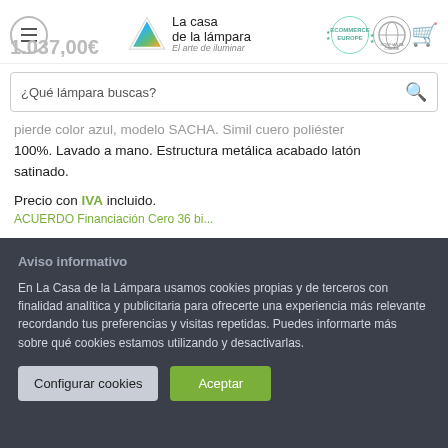[Figure (logo): La casa de la lámpara website header with hamburger menu, logo, eCommerce Europe and Confianza Online badges, and cart icon]
1.037,00€
¿Qué lámpara buscas?
pierde color azul, modelo SACHA. Simil cuero poliéster 100%. Lavado a mano. Estructura metálica acabado latón satinado.
Precio con IVA incluido.
Aviso informativo
En La Casa de la Lámpara usamos cookies propias y de terceros con finalidad analítica y publicitaria para ofrecerte una experiencia más relevante recordando tus preferencias y visitas repetidas. Puedes informarte más sobre qué cookies estamos utilizando y desactivarlas.
Configurar cookies
Aceptar